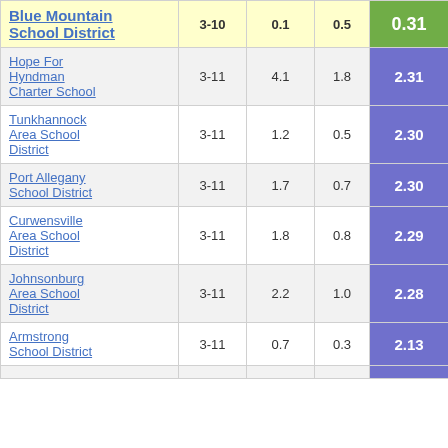| Blue Mountain School District | 3-10 | 0.1 | 0.5 | 0.31 |
| --- | --- | --- | --- | --- |
| Hope For Hyndman Charter School | 3-11 | 4.1 | 1.8 | 2.31 |
| Tunkhannock Area School District | 3-11 | 1.2 | 0.5 | 2.30 |
| Port Allegany School District | 3-11 | 1.7 | 0.7 | 2.30 |
| Curwensville Area School District | 3-11 | 1.8 | 0.8 | 2.29 |
| Johnsonburg Area School District | 3-11 | 2.2 | 1.0 | 2.28 |
| Armstrong School District | 3-11 | 0.7 | 0.3 | 2.13 |